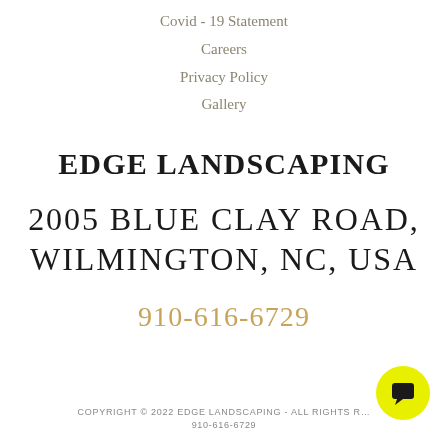Covid - 19 Statement
Careers
Privacy Policy
Gallery
EDGE LANDSCAPING
2005 BLUE CLAY ROAD, WILMINGTON, NC, USA
910-616-6729
COPYRIGHT © 2022 EDGE LANDSCAPING - ALL RIGHTS RESERVED | 910-616-6729